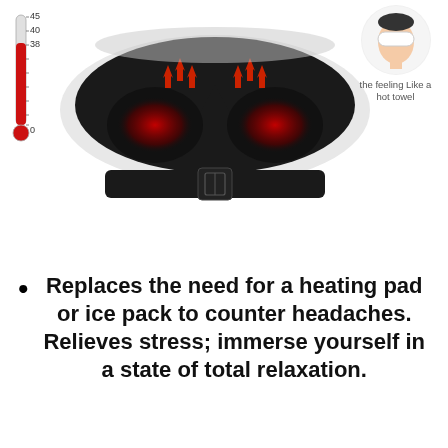[Figure (photo): Heated eye mask/sleep mask shown from front, with two red glowing heat zones over the eye areas, adjustable black strap, and red upward-pointing heat arrows. A thermometer on the left shows temperature scale (0, 38, 40, 45). A circular inset top-right shows a woman wearing a white eye mask with text 'the feeling Like a hot towel'.]
Replaces the need for a heating pad or ice pack to counter headaches. Relieves stress; immerse yourself in a state of total relaxation.